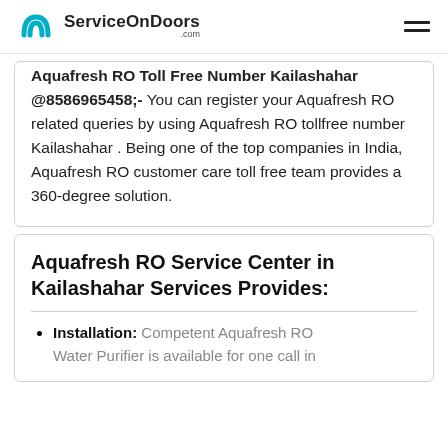ServiceOnDoors.com
Aquafresh RO Toll Free Number Kailashahar @8586965458;- You can register your Aquafresh RO related queries by using Aquafresh RO tollfree number Kailashahar . Being one of the top companies in India, Aquafresh RO customer care toll free team provides a 360-degree solution.
Aquafresh RO Service Center in Kailashahar Services Provides:
Installation: Competent Aquafresh RO Water Purifier is available for one call in